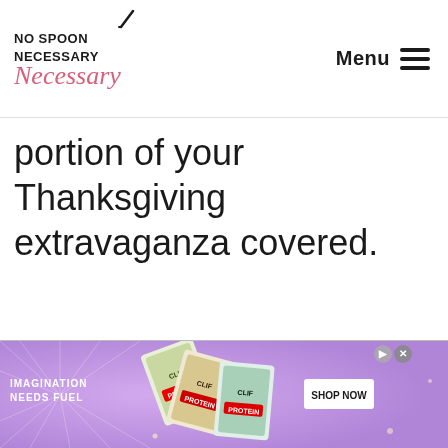No Spoon Necessary | Menu
portion of your Thanksgiving extravaganza covered.
[Figure (illustration): Advertisement banner for Clif Bar protein bars on a purple background. Text reads 'IMAGINATION NEEDS FUEL' on the left. Images of Clif Bar Protein bars in the center. A 'SHOP NOW' button on the right. Close button icons at top right.]